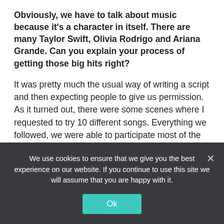Obviously, we have to talk about music because it's a character in itself. There are many Taylor Swift, Olivia Rodrigo and Ariana Grande. Can you explain your process of getting those big hits right?
It was pretty much the usual way of writing a script and then expecting people to give us permission. As it turned out, there were some scenes where I requested to try 10 different songs. Everything we followed, we were able to participate most of the time. The way I got into music, I was wondering how that summer song would always happen. You remember where you were when it was a big song and there is something really
We use cookies to ensure that we give you the best experience on our website. If you continue to use this site we will assume that you are happy with it.